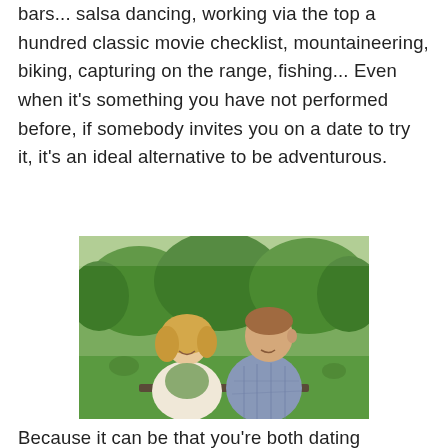bars... salsa dancing, working via the top a hundred classic movie checklist, mountaineering, biking, capturing on the range, fishing... Even when it's something you have not performed before, if somebody invites you on a date to try it, it's an ideal alternative to be adventurous.
[Figure (photo): A smiling couple — a blonde woman in a light blazer and a man in a plaid shirt — sitting outdoors in a park with green trees in the background.]
Because it can be that you're both dating